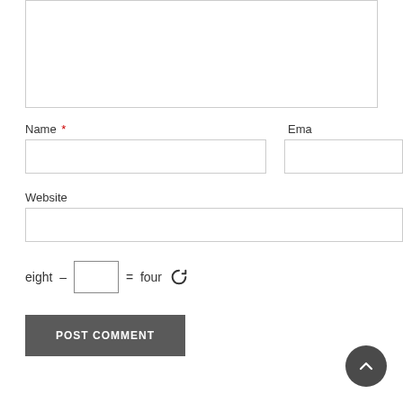[Figure (screenshot): Comment form textarea stub (top portion, partially visible)]
Name *
Ema
[Figure (screenshot): Name text input field]
[Figure (screenshot): Email text input field (partially visible)]
Website
[Figure (screenshot): Website text input field]
eight  –        =  four
[Figure (screenshot): Captcha refresh/reload icon]
POST COMMENT
[Figure (screenshot): Back to top circular button with upward chevron arrow]